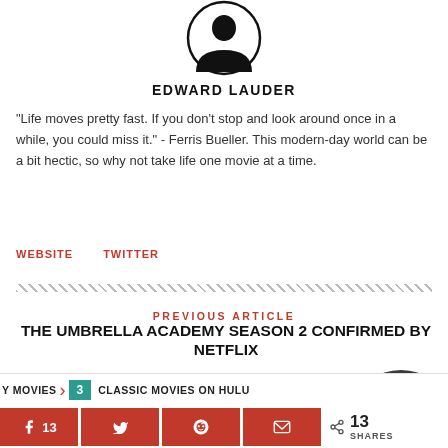[Figure (illustration): Circular avatar icon of author Edward Lauder with silhouette profile on white background, black border]
EDWARD LAUDER
"Life moves pretty fast. If you don't stop and look around once in a while, you could miss it." - Ferris Bueller. This modern-day world can be a bit hectic, so why not take life one movie at a time.
WEBSITE    TWITTER
PREVIOUS ARTICLE
THE UMBRELLA ACADEMY SEASON 2 CONFIRMED BY NETFLIX
NEXT ARTICLE
Y MOVIES  ›  3  CLASSIC MOVIES ON HULU  13 SHARES